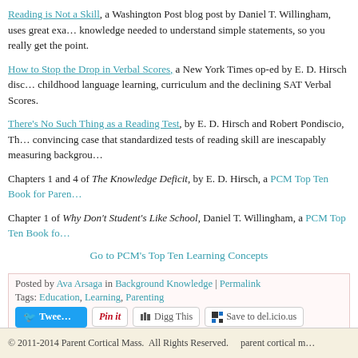Reading is Not a Skill, a Washington Post blog post by Daniel T. Willingham, uses great examples of the background knowledge needed to understand simple statements, so you really get the point.
How to Stop the Drop in Verbal Scores, a New York Times op-ed by E. D. Hirsch discusses early childhood language learning, curriculum and the declining SAT Verbal Scores.
There's No Such Thing as a Reading Test, by E. D. Hirsch and Robert Pondiscio, The... makes a convincing case that standardized tests of reading skill are inescapably measuring background...
Chapters 1 and 4 of The Knowledge Deficit, by E. D. Hirsch, a PCM Top Ten Book for Parents...
Chapter 1 of Why Don't Student's Like School, Daniel T. Willingham, a PCM Top Ten Book fo...
Go to PCM's Top Ten Learning Concepts
Posted by Ava Arsaga in Background Knowledge | Permalink
Tags: Education, Learning, Parenting
Comments
You can follow this conversation by subscribing to the comment feed for t...
The comments to this entry are closed.
© 2011-2014 Parent Cortical Mass.  All Rights Reserved.    parent cortical m...